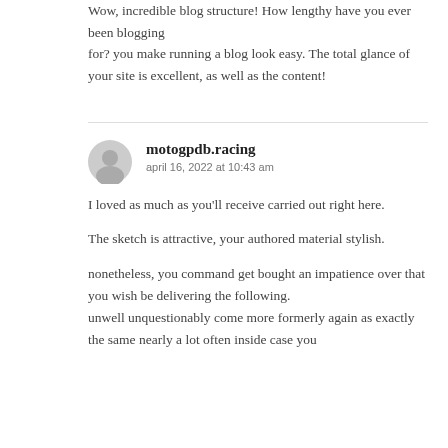Wow, incredible blog structure! How lengthy have you ever been blogging for? you make running a blog look easy. The total glance of your site is excellent, as well as the content!
motogpdb.racing
april 16, 2022 at 10:43 am
I loved as much as you'll receive carried out right here.
The sketch is attractive, your authored material stylish.
nonetheless, you command get bought an impatience over that you wish be delivering the following. unwell unquestionably come more formerly again as exactly the same nearly a lot often inside case you